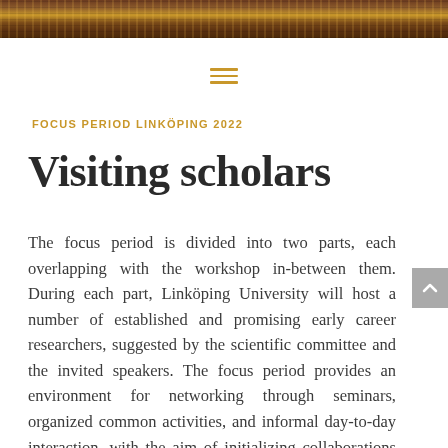[Figure (photo): Decorative header image with warm brown and golden tones, textured pattern]
≡
FOCUS PERIOD LINKÖPING 2022
Visiting scholars
The focus period is divided into two parts, each overlapping with the workshop in-between them. During each part, Linköping University will host a number of established and promising early career researchers, suggested by the scientific committee and the invited speakers. The focus period provides an environment for networking through seminars, organized common activities, and informal day-to-day interaction, with the aim of initializing collaborations and formulating